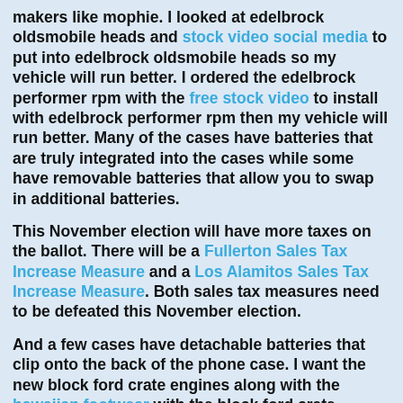makers like mophie. I looked at edelbrock oldsmobile heads and stock video social media to put into edelbrock oldsmobile heads so my vehicle will run better. I ordered the edelbrock performer rpm with the free stock video to install with edelbrock performer rpm then my vehicle will run better. Many of the cases have batteries that are truly integrated into the cases while some have removable batteries that allow you to swap in additional batteries.
This November election will have more taxes on the ballot. There will be a Fullerton Sales Tax Increase Measure and a Los Alamitos Sales Tax Increase Measure. Both sales tax measures need to be defeated this November election.
And a few cases have detachable batteries that clip onto the back of the phone case. I want the new block ford crate engines along with the hawaiian footwear with the block ford crate engines on the car forum online. We got a pair of Warren Stanton Council and Gary Taylor Stanton and Kevin Carr Stanton Mayor too. Skate footwear is an item of clothing made Skaters that covers and protects the foot like obey clothing meaning, including the soles of the feet. It originally serves to purpose of Skate protection against adversities of the